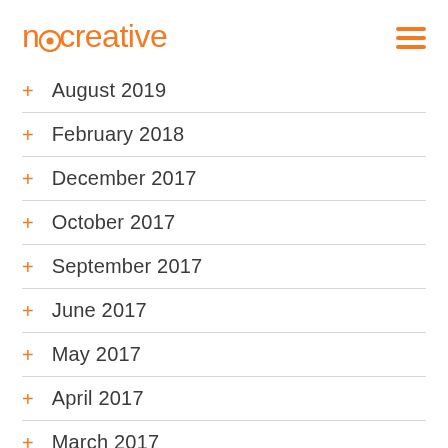neocreative
+ August 2019
+ February 2018
+ December 2017
+ October 2017
+ September 2017
+ June 2017
+ May 2017
+ April 2017
+ March 2017